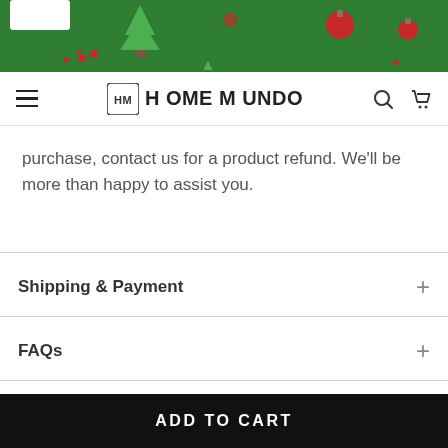[Figure (illustration): Christmas/holiday themed banner with green background, Christmas trees, snowflakes, ornaments, and holiday decorations in red and white]
HOME MUNDO — navigation bar with hamburger menu, logo, search icon, and cart icon
purchase, contact us for a product refund. We'll be more than happy to assist you.
Shipping & Payment
FAQs
About Us
TOP
ADD TO CART